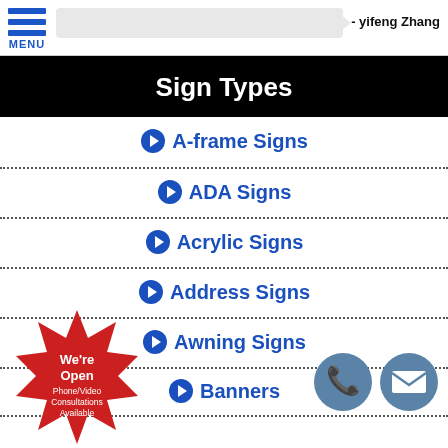MENU - yifeng Zhang
Sign Types
A-frame Signs
ADA Signs
Acrylic Signs
Address Signs
Awning Signs
Banners
[Figure (illustration): Red star-burst badge with text: We're Open Phone/Video Consultations Available]
[Figure (illustration): Blue circle phone icon and blue circle email/envelope icon]
- yifeng Zhang